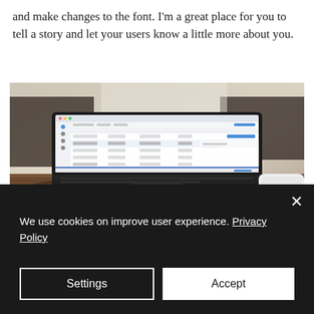and make changes to the font. I'm a great place for you to tell a story and let your users know a little more about you.
[Figure (photo): Person typing on a MacBook laptop displaying a data management or spreadsheet application on screen, placed on a wooden desk with a white smartphone nearby, photographed in a cafe or office environment.]
We use cookies on improve user experience. Privacy Policy